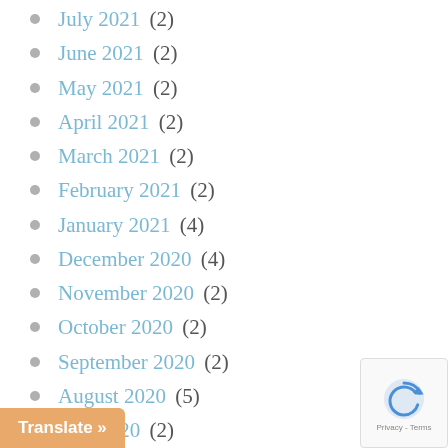July 2021 (2)
June 2021 (2)
May 2021 (2)
April 2021 (2)
March 2021 (2)
February 2021 (2)
January 2021 (4)
December 2020 (4)
November 2020 (2)
October 2020 (2)
September 2020 (2)
August 2020 (5)
July 2020 (2)
June 2020 (3)
May 2020 (2)
...0 (2)